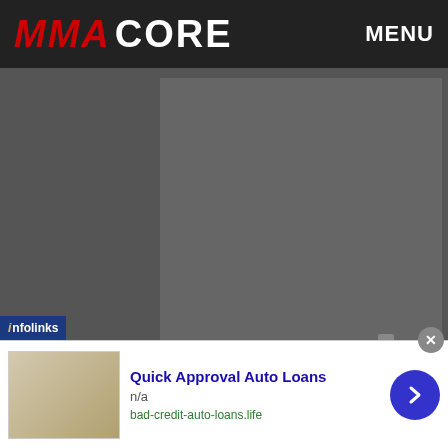MMA CORE  MENU
[Figure (other): Gray advertisement placeholder area]
Fight Record: 35 Wins - 16 Losses - 2 Draws
Last Five Fights: SUB SUB UD UD SUB
First Name: John
Last Name: Gunderson
Nickname: Guns
Date of Birth: May 01, 1979 (age 43)
[Figure (other): Infolinks ad overlay: Quick Approval Auto Loans, n/a, bad-credit-auto-loans.life]